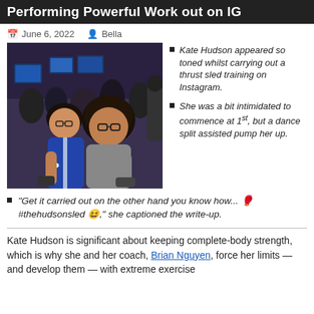Performing Powerful Work out on IG
June 6, 2022   Bella
[Figure (photo): Photo of people playing video games at a tournament or LAN event, multiple people with controllers and computers visible.]
Kate Hudson appeared so toned whilst carrying out a thrust sled training on Instagram.
She was a bit intimidated to commence at 1st, but a dance split assisted pump her up.
“Get it carried out on the other hand you know how... 🍸 #thehudsonsled 😄,” she captioned the write-up.
Kate Hudson is significant about keeping complete-body strength, which is why she and her coach, Brian Nguyen, force her limits — and develop them — with extreme exercise